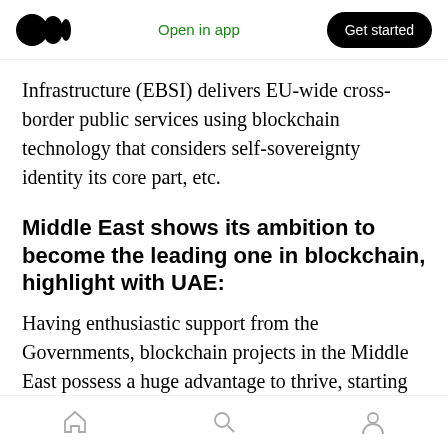Open in app | Get started
Infrastructure (EBSI) delivers EU-wide cross-border public services using blockchain technology that considers self-sovereignty identity its core part, etc.
Middle East shows its ambition to become the leading one in blockchain, highlight with UAE:
Having enthusiastic support from the Governments, blockchain projects in the Middle East possess a huge advantage to thrive, starting from financial, the insurance industry and central bank to utility services.